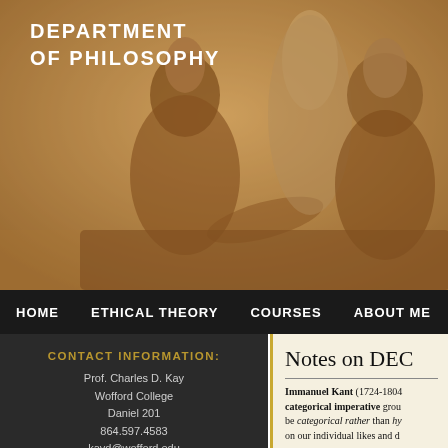[Figure (illustration): Sepia-toned engraving/illustration of 18th century scholars or philosophers gathered around a table in discussion, with bookshelves in background. Header banner for Department of Philosophy website.]
DEPARTMENT OF PHILOSOPHY
HOME   ETHICAL THEORY   COURSES   ABOUT ME
CONTACT INFORMATION:
Prof. Charles D. Kay
Wofford College
Daniel 201
864.597.4583
kayd@wofford.edu
Notes on DEC
Immanuel Kant (1724-1804) grouped his categorical imperative grou... be categorical rather than hy... on our individual likes and d...